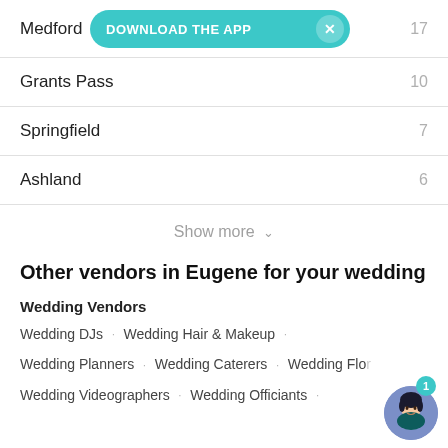Medford · 17
Grants Pass · 10
Springfield · 7
Ashland · 6
Show more
Other vendors in Eugene for your wedding
Wedding Vendors
Wedding DJs · Wedding Hair & Makeup
Wedding Planners · Wedding Caterers · Wedding Flo...
Wedding Videographers · Wedding Officiants